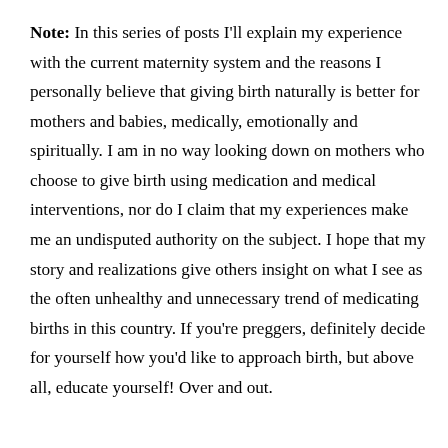Note: In this series of posts I'll explain my experience with the current maternity system and the reasons I personally believe that giving birth naturally is better for mothers and babies, medically, emotionally and spiritually. I am in no way looking down on mothers who choose to give birth using medication and medical interventions, nor do I claim that my experiences make me an undisputed authority on the subject. I hope that my story and realizations give others insight on what I see as the often unhealthy and unnecessary trend of medicating births in this country. If you're preggers, definitely decide for yourself how you'd like to approach birth, but above all, educate yourself! Over and out.